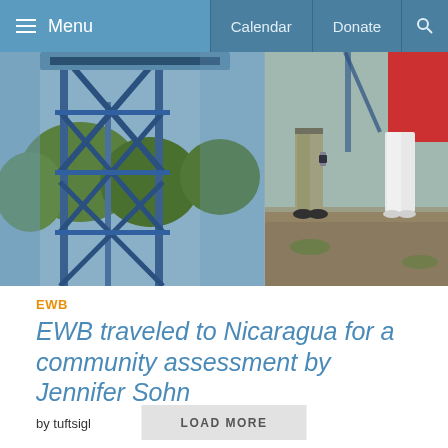Menu   Calendar   Donate   🔍
[Figure (photo): Two-panel photo: left panel shows a blue metal scaffolding or water tower structure with diagonal cross-bracing and trees in the background; right panel shows two people standing outdoors, one in khaki pants and black shoes with a watch, the other in white pants, in a dirt/soil area.]
EWB
EWB traveled to Nicaragua for a community assessment by Jennifer Sohn
by tuftsigl
LOAD MORE